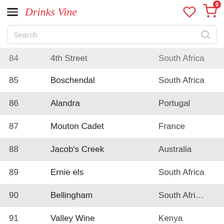Drinks Vine — app header with search bar
| # | Brand | Country |
| --- | --- | --- |
| 84 | 4th Street | South Africa |
| 85 | Boschendal | South Africa |
| 86 | Alandra | Portugal |
| 87 | Mouton Cadet | France |
| 88 | Jacob's Creek | Australia |
| 89 | Ernie els | South Africa |
| 90 | Bellingham | South Africa |
| 91 | Valley Wine | Kenya |
| 92 | Rupert & Rothschild | South Africa |